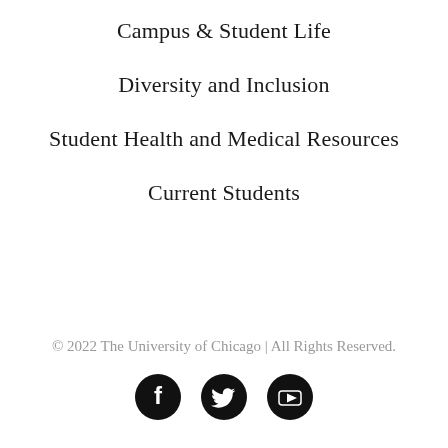Campus & Student Life
Diversity and Inclusion
Student Health and Medical Resources
Current Students
© 2022 The University of Chicago | All Rights Reserved.
[Figure (other): Social media icons: Facebook, Twitter, YouTube]